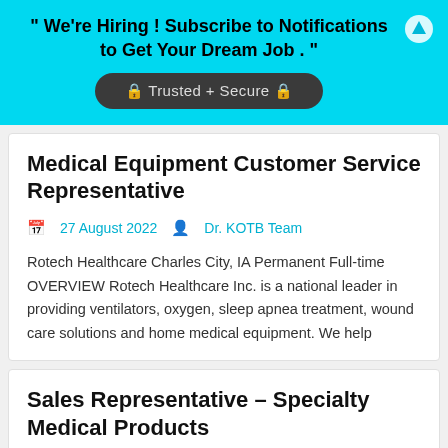" We're Hiring ! Subscribe to Notifications to Get Your Dream Job . "
🔒 Trusted + Secure 🔒
Medical Equipment Customer Service Representative
27 August 2022  Dr. KOTB Team
Rotech Healthcare Charles City, IA Permanent Full-time OVERVIEW Rotech Healthcare Inc. is a national leader in providing ventilators, oxygen, sleep apnea treatment, wound care solutions and home medical equipment. We help
Sales Representative – Specialty Medical Products